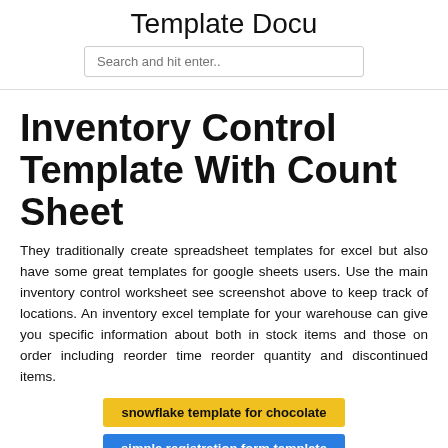Template Docu
Search and hit enter..
Inventory Control Template With Count Sheet
They traditionally create spreadsheet templates for excel but also have some great templates for google sheets users. Use the main inventory control worksheet see screenshot above to keep track of locations. An inventory excel template for your warehouse can give you specific information about both in stock items and those on order including reorder time reorder quantity and discontinued items.
snowflake template for chocolate
simple registration form template